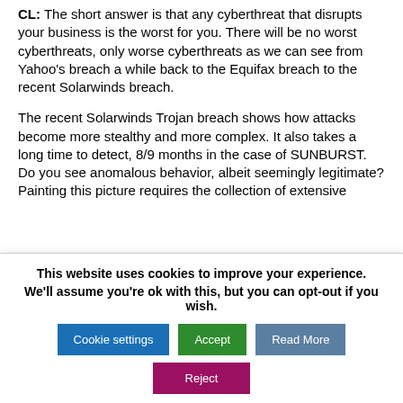CL: The short answer is that any cyberthreat that disrupts your business is the worst for you. There will be no worst cyberthreats, only worse cyberthreats as we can see from Yahoo's breach a while back to the Equifax breach to the recent Solarwinds breach.
The recent Solarwinds Trojan breach shows how attacks become more stealthy and more complex. It also takes a long time to detect, 8/9 months in the case of SUNBURST. Do you see anomalous behavior, albeit seemingly legitimate? Painting this picture requires the collection of extensive...
This website uses cookies to improve your experience. We'll assume you're ok with this, but you can opt-out if you wish. [Cookie settings] [Accept] [Read More] [Reject]